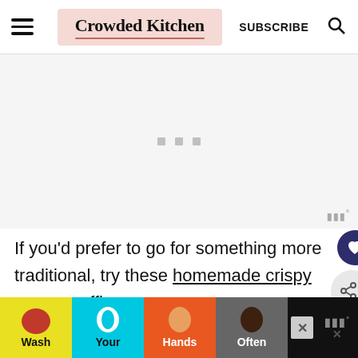Crowded Kitchen | SUBSCRIBE
[Figure (other): Advertisement placeholder area with three small grey squares centered, and Mediavine badge in bottom right]
If you'd prefer to go for something more traditional, try these homemade crispy vegan waffles.
[Figure (infographic): Wash Your Hands Often advertisement banner with colorful hand-washing illustrations on black background]